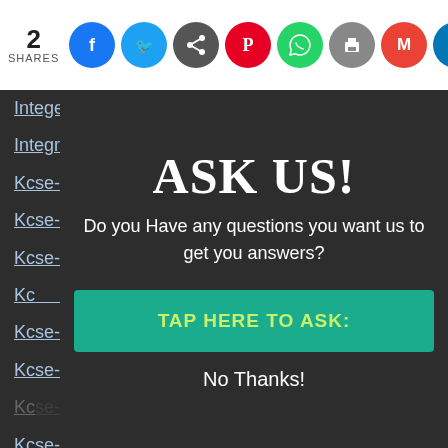2 SHARES — social share icons: Facebook, Twitter, Share, Pinterest, WhatsApp, Print, Gmail, LinkedIn, Google
Integers
Integration
Kcse-1995
Kcse-1996
Kcse-1997
Kcse-1998
Kcse-1999
Kcse-2000
Kcse-2001
Kcse-2003
Kcse-2004
Kcse-2005
Kcse-2006
Kcse-2007
Kcse-2008
Kcse-2009
ASK US!
Do you Have any questions you want us to get you answers?
TAP HERE TO ASK:
No Thanks!